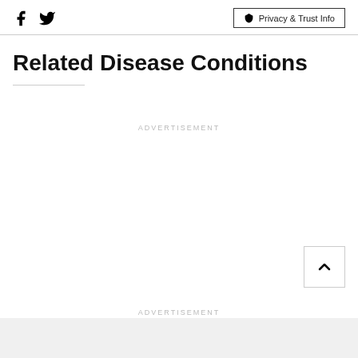Facebook Twitter Privacy & Trust Info
Related Disease Conditions
ADVERTISEMENT
ADVERTISEMENT